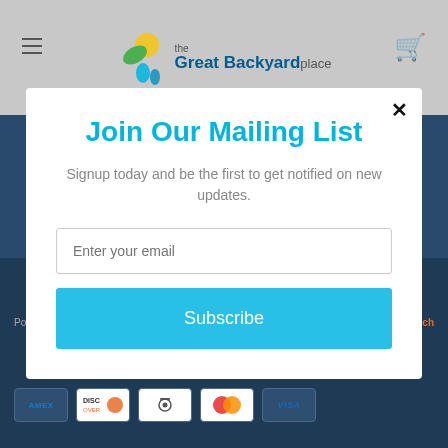[Figure (screenshot): Website header with navigation bar showing hamburger menu, The Great Backyard Place logo, and cart icon on grey background]
[Figure (screenshot): Website body with dark navy blue background]
Join Our Mailing List
Signup today and be the first to get notified on new updates.
Enter your email
Subscribe
Powered by Shopify
powered by MailMunch
[Figure (other): Payment method icons: AMEX, DISCOVER, Meta, Mastercard, VISA]